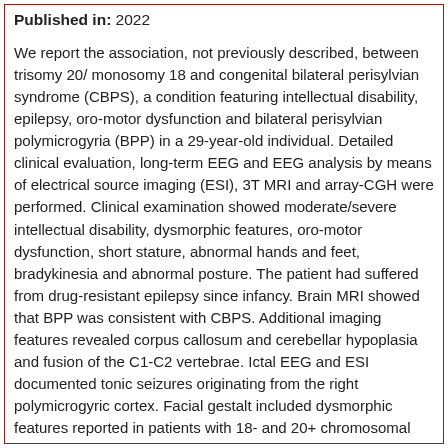Published in: 2022
We report the association, not previously described, between trisomy 20/ monosomy 18 and congenital bilateral perisylvian syndrome (CBPS), a condition featuring intellectual disability, epilepsy, oro-motor dysfunction and bilateral perisylvian polymicrogyria (BPP) in a 29-year-old individual. Detailed clinical evaluation, long-term EEG and EEG analysis by means of electrical source imaging (ESI), 3T MRI and array-CGH were performed. Clinical examination showed moderate/severe intellectual disability, dysmorphic features, oro-motor dysfunction, short stature, abnormal hands and feet, bradykinesia and abnormal posture. The patient had suffered from drug-resistant epilepsy since infancy. Brain MRI showed that BPP was consistent with CBPS. Additional imaging features revealed corpus callosum and cerebellar hypoplasia and fusion of the C1-C2 vertebrae. Ictal EEG and ESI documented tonic seizures originating from the right polymicrogyric cortex. Facial gestalt included dysmorphic features reported in patients with 18- and 20+ chromosomal rearrangements. Array-CGH showed an unbalanced translocation, arr(18p)x1(20p)x3. In conclusion, we provide a detailed electro-clinical and MRI description of a novel condition characterized by the association between trisomy 20p/monosomy 18p and CBPS, also illustrating its clinical evolution into adulthood. This information may help paediatricians,